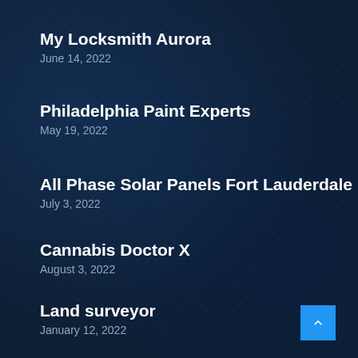My Locksmith Aurora
June 14, 2022
Philadelphia Paint Experts
May 19, 2022
All Phase Solar Panels Fort Lauderdale
July 3, 2022
Cannabis Doctor X
August 3, 2022
Land surveyor
January 12, 2022